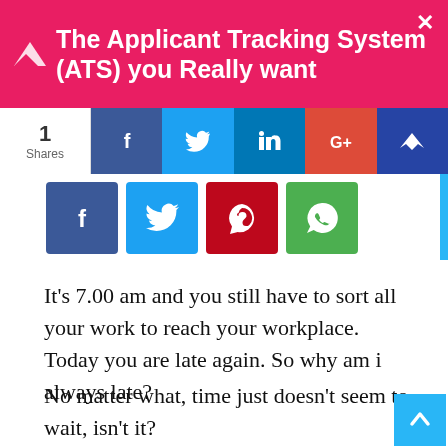The Applicant Tracking System (ATS) you Really want
[Figure (screenshot): Social share bar with counts: 1 Shares, Facebook, Twitter, LinkedIn, Google+, crown icon buttons]
[Figure (screenshot): Small social share buttons: Facebook, Twitter, Pinterest, WhatsApp]
It’s 7.00 am and you still have to sort all your work to reach your workplace. Today you are late again. So why am i always late?
No matter what, time just doesn’t seem to wait, isn’t it?